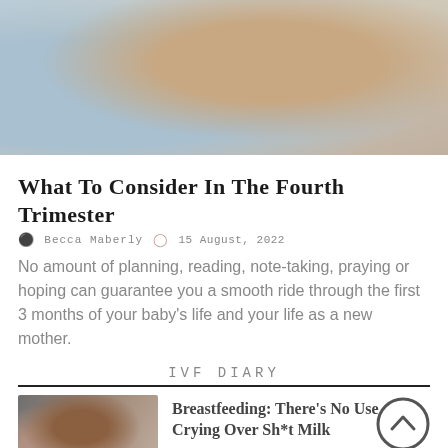[Figure (photo): Close-up photo of a baby wrapped in a light blue blanket, with an adult hand visible]
What To Consider In The Fourth Trimester
Becca Maberly   15 August, 2022
No amount of planning, reading, note-taking, praying or hoping can guarantee you a smooth ride through the first 3 months of your baby's life and your life as a new mother.
IVF DIARY
[Figure (photo): Thumbnail photo of a woman with long dark hair, appears to be breastfeeding or holding a baby]
Breastfeeding: There's No Use Crying Over Sh*t Milk